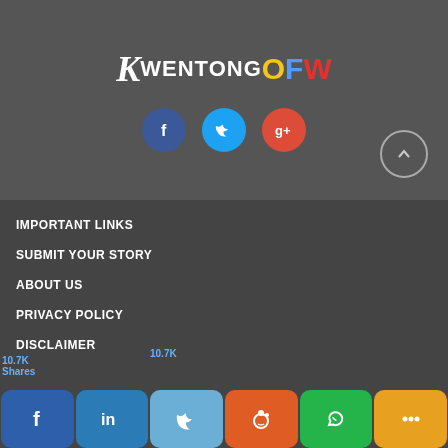[Figure (logo): KwentongOFW logo with stylized K in white italic, KWENTONG in white, O in yellow, F in blue, W in red]
[Figure (infographic): Social media share icons: Facebook (blue circle), Twitter (cyan circle), Google+ (red circle)]
IMPORTANT LINKS
SUBMIT YOUR STORY
ABOUT US
PRIVACY POLICY
DISCLAIMER
10.7K Shares
[Figure (infographic): Social share bar at bottom: Facebook (dark blue), LinkedIn (blue), Twitter (light blue), Reddit (orange), WhatsApp (green), More (orange) buttons with 10.7K shares count]